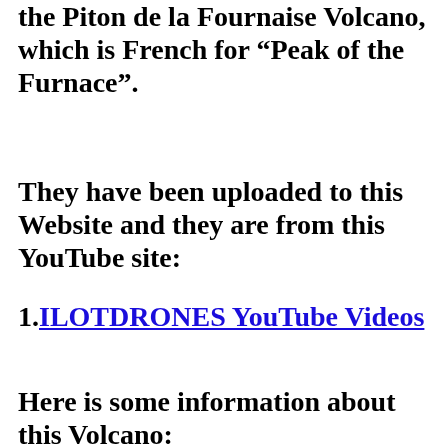the Piton de la Fournaise Volcano, which is French for “Peak of the Furnace”.
They have been uploaded to this Website and they are from this YouTube site:
1. ILOTDRONES YouTube Videos
Here is some information about this Volcano: